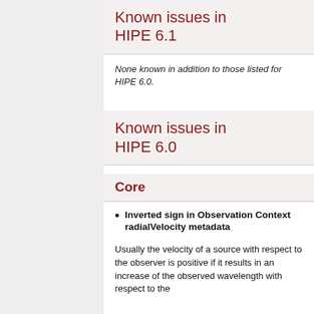Known issues in HIPE 6.1
None known in addition to those listed for HIPE 6.0.
Known issues in HIPE 6.0
Core
Inverted sign in Observation Context radialVelocity metadata
Usually the velocity of a source with respect to the observer is positive if it results in an increase of the observed wavelength with respect to the